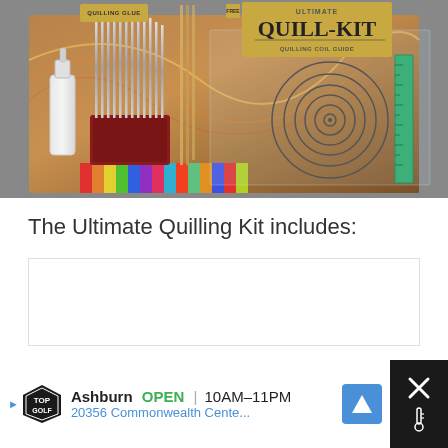[Figure (photo): Photo of an Ultimate Quill-Kit quilling supplies set, including a white glue bottle, a red-handled metal needle/comb tool, metal needles, a circle sizing board with concentric circles, a green ruler, and colorful paper strips, all in a plastic bag packaging. A kraft paper label in the top left reads 'QUILLING GLUE' and a larger label on the right reads 'ULTIMATE QUILL-KIT QUILLING COIL GUIDE'.]
The Ultimate Quilling Kit includes:
[Figure (other): Empty white content box below the text, likely placeholder for a list or additional content.]
[Figure (other): Advertisement banner at bottom: TopGolf logo, 'Ashburn OPEN 10AM-11PM | 20356 Commonwealth Cente...' with navigation arrow icon and close button on dark background.]